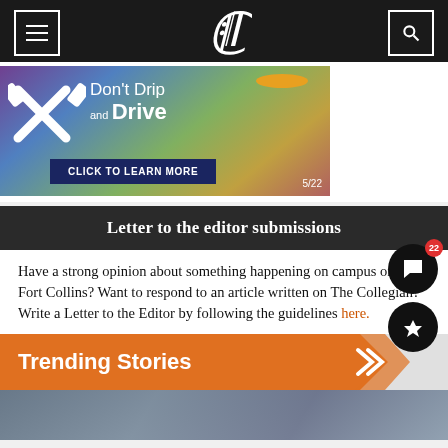The Collegian
[Figure (infographic): Don't Drip and Drive advertisement banner with crossed tools graphic, orange ellipse, and blue CLICK TO LEARN MORE button. Date: 5/22]
Letter to the editor submissions
Have a strong opinion about something happening on campus or in Fort Collins? Want to respond to an article written on The Collegian? Write a Letter to the Editor by following the guidelines here.
Trending Stories
[Figure (photo): Bottom portion of a blurred outdoor/campus photo visible at page bottom]